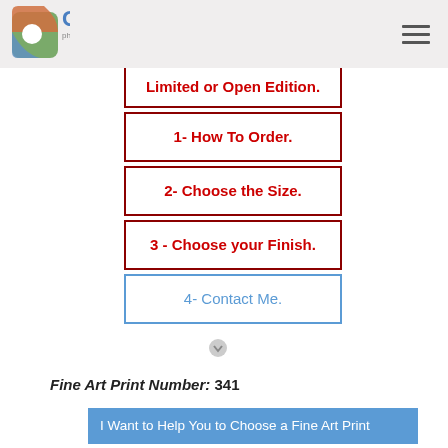Guillen photo www.guillenphoto.com
Limited or Open Edition.
1- How To Order.
2- Choose the Size.
3 - Choose your Finish.
4- Contact Me.
Fine Art Print Number: 341
I Want to Help You to Choose a Fine Art Print
Cu...